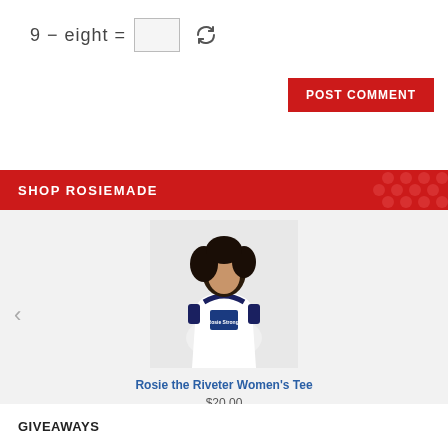9 − eight =
POST COMMENT
SHOP ROSIEMADE
[Figure (photo): Woman wearing a white Rosie the Riveter Women's Tee with navy accents and a graphic print in the center]
Rosie the Riveter Women's Tee
$20.00
GIVEAWAYS